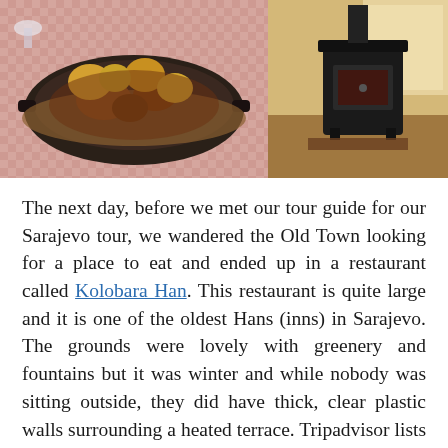[Figure (photo): Left: A cast iron pan with meat and potatoes on a checkered tablecloth. Right: A black wood-burning stove in a rustic room.]
The next day, before we met our tour guide for our Sarajevo tour, we wandered the Old Town looking for a place to eat and ended up in a restaurant called Kolobara Han. This restaurant is quite large and it is one of the oldest Hans (inns) in Sarajevo. The grounds were lovely with greenery and fountains but it was winter and while nobody was sitting outside, they did have thick, clear plastic walls surrounding a heated terrace. Tripadvisor lists it as BBQ, Mediterranean and pizza cuisine. I'm not sure why as it also offers lots of traditional Bosnian dishes. The atmosphere was warm with red and golden hues